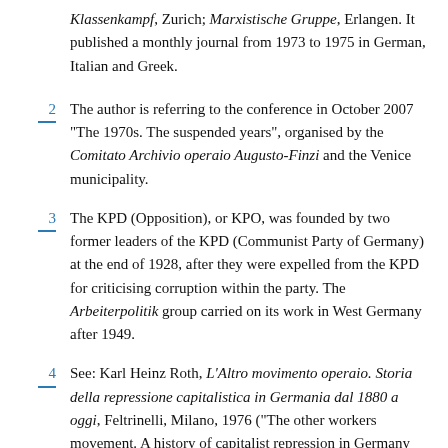Klassenkampf, Zurich; Marxistische Gruppe, Erlangen. It published a monthly journal from 1973 to 1975 in German, Italian and Greek.
2  The author is referring to the conference in October 2007 “The 1970s. The suspended years”, organised by the Comitato Archivio operaio Augusto-Finzi and the Venice municipality.
3  The KPD (Opposition), or KPO, was founded by two former leaders of the KPD (Communist Party of Germany) at the end of 1928, after they were expelled from the KPD for criticising corruption within the party. The Arbeiterpolitik group carried on its work in West Germany after 1949.
4  See: Karl Heinz Roth, L’Altro movimento operaio. Storia della repressione capitalistica in Germania dal 1880 a oggi, Feltrinelli, Milano, 1976 (“The other workers movement. A history of capitalist repression in Germany from 1880 to the present day”). There is an abridged version in French,